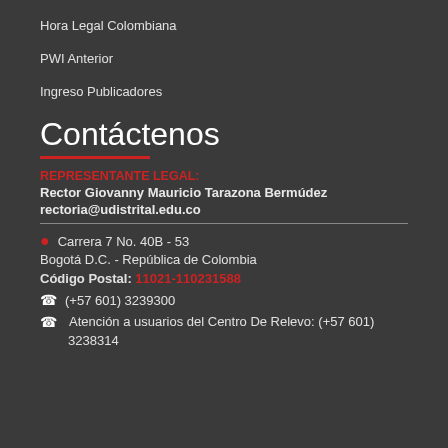Hora Legal Colombiana
PWI Anterior
Ingreso Publicadores
Contáctenos
REPRESENTANTE LEGAL:
Rector Giovanny Mauricio Tarazona Bermúdez
rectoria@udistrital.edu.co
Carrera 7 No. 40B - 53
Bogotá D.C. - República de Colombia
Código Postal: 11021-110231588
(+57 601) 3239300
Atención a usuarios del Centro De Relevo: (+57 601)
3238314